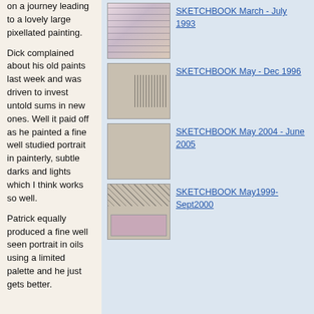on a journey leading to a lovely large pixellated painting.
Dick complained about his old paints last week and was driven to invest untold sums in new ones. Well it paid off as he painted a fine well studied portrait in painterly, subtle darks and lights which I think works so well.
Patrick equally produced a fine well seen portrait in oils using a limited palette and he just gets better.
[Figure (photo): Sketchbook cover thumbnail - March to July 1993]
SKETCHBOOK March - July 1993
[Figure (photo): Sketchbook cover thumbnail - May to Dec 1996]
SKETCHBOOK May - Dec 1996
[Figure (photo): Sketchbook cover thumbnail - May 2004 to June 2005]
SKETCHBOOK May 2004 - June 2005
[Figure (photo): Sketchbook cover thumbnail - May1999 to Sept2000]
SKETCHBOOK May1999-Sept2000